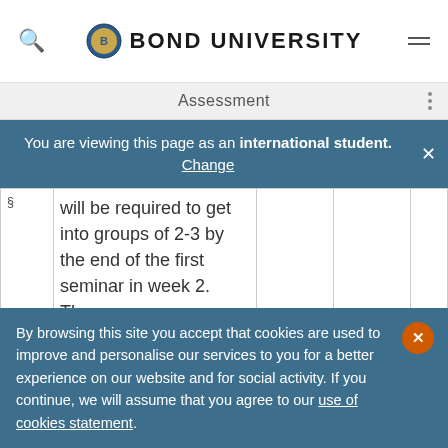Bond University
Assessment
You are viewing this page as an international student. Change
| § | will be required to get into groups of 2-3 by the end of the first seminar in week 2. They... |
| --- | --- |
| § | will be required to get into groups of 2-3 by the end of the first seminar in week 2. They... |
By browsing this site you accept that cookies are used to improve and personalise our services to you for a better experience on our website and for social activity. If you continue, we will assume that you agree to our use of cookies statement.